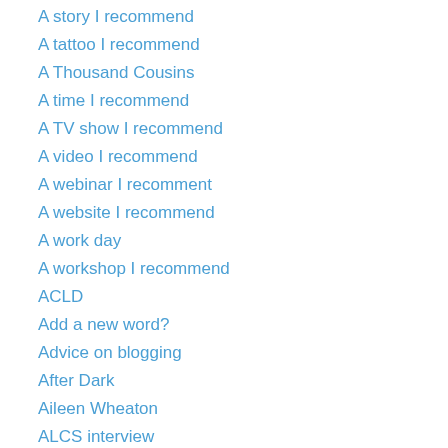A story I recommend
A tattoo I recommend
A Thousand Cousins
A time I recommend
A TV show I recommend
A video I recommend
A webinar I recomment
A website I recommend
A work day
A workshop I recommend
ACLD
Add a new word?
Advice on blogging
After Dark
Aileen Wheaton
ALCS interview
Alexandria LaFaye
Alyssa Kirch
America Writes for Kids
American Association of School Librarians